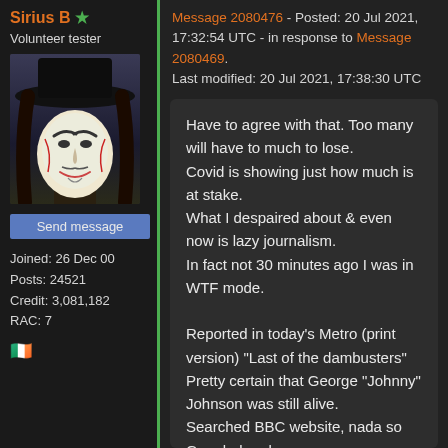Sirius B ★ Volunteer tester
[Figure (photo): Avatar image of a person wearing a V for Vendetta Guy Fawkes mask and black wide-brimmed hat]
Send message
Joined: 26 Dec 00
Posts: 24521
Credit: 3,081,182
RAC: 7
🇮🇪
Message 2080476 - Posted: 20 Jul 2021, 17:32:54 UTC - in response to Message 2080469.
Last modified: 20 Jul 2021, 17:38:30 UTC
Have to agree with that. Too many will have to much to lose.
Covid is showing just how much is at stake.
What I despaired about & even now is lazy journalism.
In fact not 30 minutes ago I was in WTF mode.

Reported in today's Metro (print version) "Last of the dambusters"
Pretty certain that George "Johnny" Johnson was still alive.
Searched BBC website, nada so Googled nada.
However, "Johnny" is still alive & will